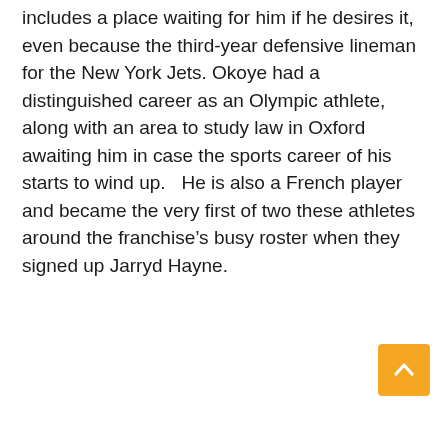includes a place waiting for him if he desires it, even because the third-year defensive lineman for the New York Jets. Okoye had a distinguished career as an Olympic athlete, along with an area to study law in Oxford awaiting him in case the sports career of his starts to wind up.   He is also a French player and became the very first of two these athletes around the franchise’s busy roster when they signed up Jarryd Hayne.
[Figure (other): Orange scroll-to-top button with upward chevron arrow in the bottom-right corner]